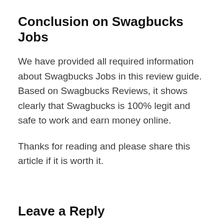Conclusion on Swagbucks Jobs
We have provided all required information about Swagbucks Jobs in this review guide. Based on Swagbucks Reviews, it shows clearly that Swagbucks is 100% legit and safe to work and earn money online.
Thanks for reading and please share this article if it is worth it.
Leave a Reply